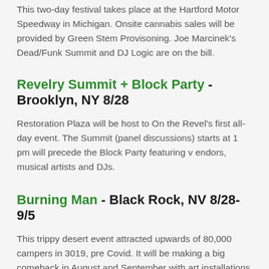This two-day festival takes place at the Hartford Motor Speedway in Michigan. Onsite cannabis sales will be provided by Green Stem Provisoning. Joe Marcinek's Dead/Funk Summit and DJ Logic are on the bill.
Revelry Summit + Block Party - Brooklyn, NY 8/28
Restoration Plaza will be host to On the Revel's first all-day event. The Summit (panel discussions) starts at 1 pm will precede the Block Party featuring v endors, musical artists and DJs.
Burning Man - Black Rock, NV 8/28-9/5
This trippy desert event attracted upwards of 80,000 campers in 3019, pre Covid. It will be making a big comeback in August and September with art installations and of course